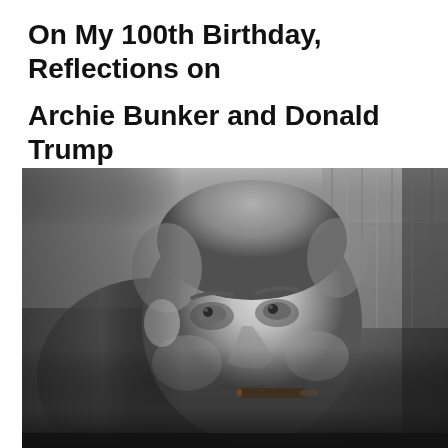On My 100th Birthday, Reflections on Archie Bunker and Donald Trump
[Figure (photo): Black and white photograph of a middle-aged man sitting in an armchair, holding a cigar in his mouth, looking upward with a skeptical expression — resembling the character Archie Bunker from the TV show All in the Family.]